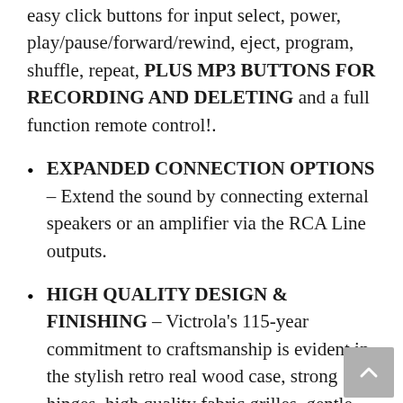easy click buttons for input select, power, play/pause/forward/rewind, eject, program, shuffle, repeat, PLUS MP3 BUTTONS FOR RECORDING AND DELETING and a full function remote control!.
EXPANDED CONNECTION OPTIONS – Extend the sound by connecting external speakers or an amplifier via the RCA Line outputs.
HIGH QUALITY DESIGN & FINISHING – Victrola's 115-year commitment to craftsmanship is evident in the stylish retro real wood case, strong hinges, high quality fabric grilles, gentle lifting mechanism and well-balanced sound.